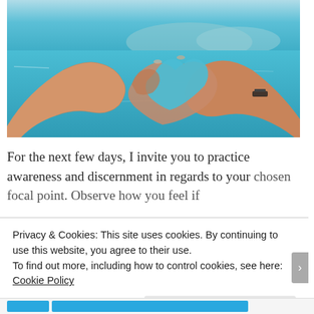[Figure (photo): Two hands forming a heart shape with fingers, overlaid on a blurred turquoise ocean/water background. The right wrist has a dark bracelet/watch.]
For the next few days, I invite you to practice awareness and discernment in regards to your chosen focal point. Observe how you feel if
Privacy & Cookies: This site uses cookies. By continuing to use this website, you agree to their use.
To find out more, including how to control cookies, see here: Cookie Policy